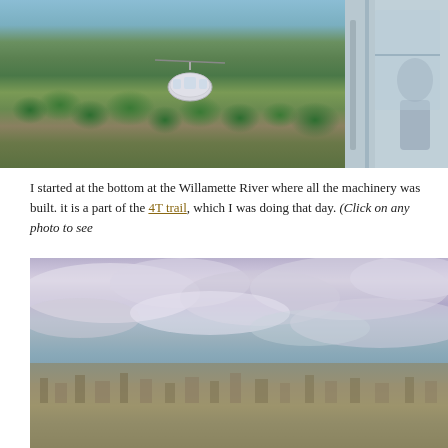[Figure (photo): Two photos side by side: left photo shows an aerial view of Portland with a cable car gondola suspended above green tree-covered neighborhoods with the Willamette River visible in the background; right photo shows a partial view of the cable car interior or exterior, partially cropped.]
I started at the bottom at the Willamette River where all the machinery was built. it is a part of the 4T trail, which I was doing that day. (Click on any photo to see
[Figure (photo): Wide panoramic photo showing an aerial or elevated view of Portland city with dramatic cloudy sky above and the cityscape and surrounding hills visible below.]